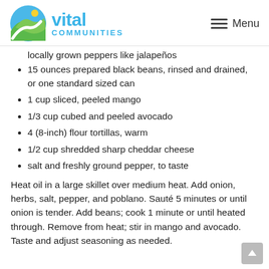vital communities — Menu
locally grown peppers like jalapeños
15 ounces prepared black beans, rinsed and drained, or one standard sized can
1 cup sliced, peeled mango
1/3 cup cubed and peeled avocado
4 (8-inch) flour tortillas, warm
1/2 cup shredded sharp cheddar cheese
salt and freshly ground pepper, to taste
Heat oil in a large skillet over medium heat. Add onion, herbs, salt, pepper, and poblano. Sauté 5 minutes or until onion is tender. Add beans; cook 1 minute or until heated through. Remove from heat; stir in mango and avocado. Taste and adjust seasoning as needed.